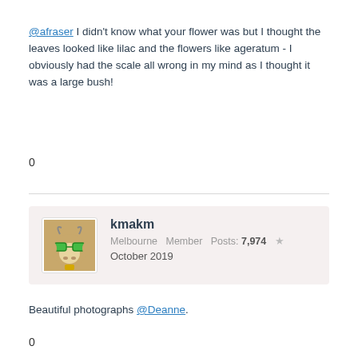@afraser I didn't know what your flower was but I thought the leaves looked like lilac and the flowers like ageratum - I obviously had the scale all wrong in my mind as I thought it was a large bush!
0
kmakm
Melbourne  Member  Posts: 7,974  ★
October 2019
Beautiful photographs @Deanne.
0